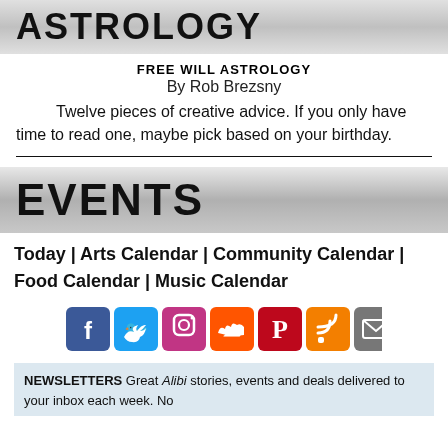ASTROLOGY
FREE WILL ASTROLOGY
By Rob Brezsny
Twelve pieces of creative advice. If you only have time to read one, maybe pick based on your birthday.
EVENTS
Today | Arts Calendar | Community Calendar | Food Calendar | Music Calendar
[Figure (infographic): Row of seven social media icon buttons: Facebook (blue), Twitter (blue), Instagram (pink), SoundCloud (orange), Pinterest (red), RSS (orange), Email/newsletter (grey)]
NEWSLETTERS Great Alibi stories, events and deals delivered to your inbox each week. No